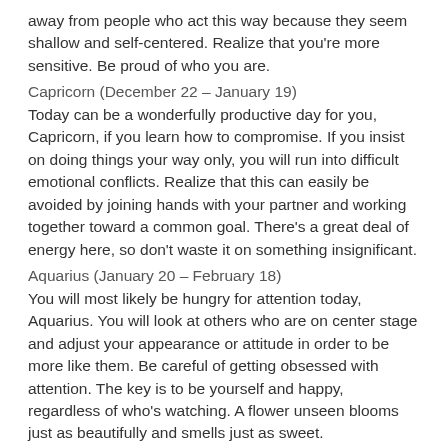away from people who act this way because they seem shallow and self-centered. Realize that you're more sensitive. Be proud of who you are.
Capricorn (December 22 – January 19)
Today can be a wonderfully productive day for you, Capricorn, if you learn how to compromise. If you insist on doing things your way only, you will run into difficult emotional conflicts. Realize that this can easily be avoided by joining hands with your partner and working together toward a common goal. There's a great deal of energy here, so don't waste it on something insignificant.
Aquarius (January 20 – February 18)
You will most likely be hungry for attention today, Aquarius. You will look at others who are on center stage and adjust your appearance or attitude in order to be more like them. Be careful of getting obsessed with attention. The key is to be yourself and happy, regardless of who's watching. A flower unseen blooms just as beautifully and smells just as sweet.
Pisces (February 19 – March 20)